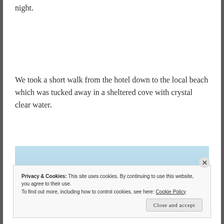night.
We took a short walk from the hotel down to the local beach which was tucked away in a sheltered cove with crystal clear water.
[Figure (photo): Light blue rectangular placeholder image, partially visible, representing a beach or water scene.]
Privacy & Cookies: This site uses cookies. By continuing to use this website, you agree to their use.
To find out more, including how to control cookies, see here: Cookie Policy
Close and accept